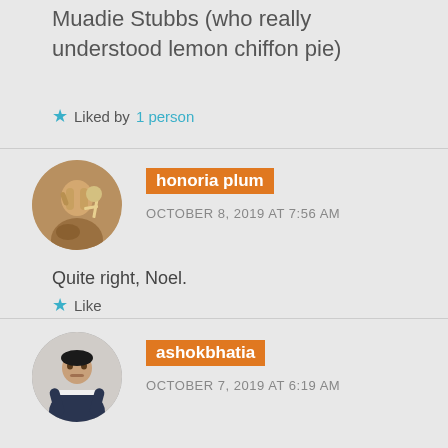Muadie Stubbs (who really understood lemon chiffon pie)
★ Liked by 1 person
honoria plum
OCTOBER 8, 2019 AT 7:56 AM
Quite right, Noel.
★ Like
ashokbhatia
OCTOBER 7, 2019 AT 6:19 AM